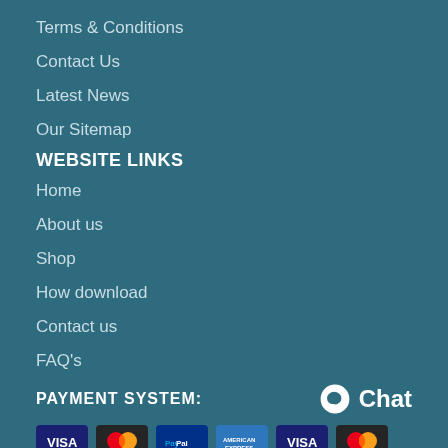Terms & Conditions
Contact Us
Latest News
Our Sitemap
WEBSITE LINKS
Home
About us
Shop
How download
Contact us
FAQ's
PAYMENT SYSTEM:
[Figure (illustration): Chat button with speech bubble icon]
[Figure (illustration): Payment method icons: Visa, Mastercard, PayPal, American Express, Visa, Mastercard]